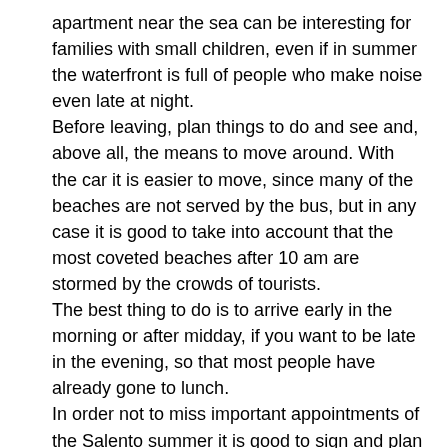apartment near the sea can be interesting for families with small children, even if in summer the waterfront is full of people who make noise even late at night.
Before leaving, plan things to do and see and, above all, the means to move around. With the car it is easier to move, since many of the beaches are not served by the bus, but in any case it is good to take into account that the most coveted beaches after 10 am are stormed by the crowds of tourists.
The best thing to do is to arrive early in the morning or after midday, if you want to be late in the evening, so that most people have already gone to lunch.
In order not to miss important appointments of the Salento summer it is good to sign and plan in advance the participation in parties, festivals and concerts.
5- How to choose where to eat
For lunch, you can evaluate the possibility of eating fish in one of the restaurants along the seafront, paying attention to be advised by locals, to avoid nasty surprises. There are in fact some restaurants that open only in summer to benefit from the large influx of tourists.
An intelligent alternative that saves money and time could be to bring good sandwiches right on the beach. In fact, it can happen to find beaches where there are no facilities to eat. On various roads